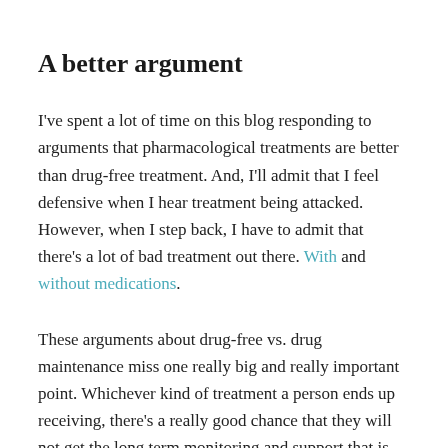A better argument
I've spent a lot of time on this blog responding to arguments that pharmacological treatments are better than drug-free treatment. And, I'll admit that I feel defensive when I hear treatment being attacked. However, when I step back, I have to admit that there's a lot of bad treatment out there. With and without medications.
These arguments about drug-free vs. drug maintenance miss one really big and really important point. Whichever kind of treatment a person ends up receiving, there's a really good chance that they will not get the long term monitoring and support that is appropriate for a